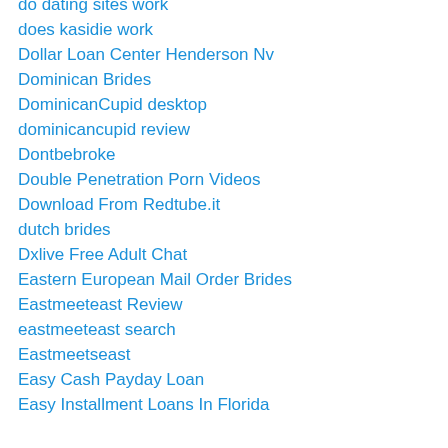do dating sites work
does kasidie work
Dollar Loan Center Henderson Nv
Dominican Brides
DominicanCupid desktop
dominicancupid review
Dontbebroke
Double Penetration Porn Videos
Download From Redtube.it
dutch brides
Dxlive Free Adult Chat
Eastern European Mail Order Brides
Eastmeeteast Review
eastmeeteast search
Eastmeetseast
Easy Cash Payday Loan
Easy Installment Loans In Florida